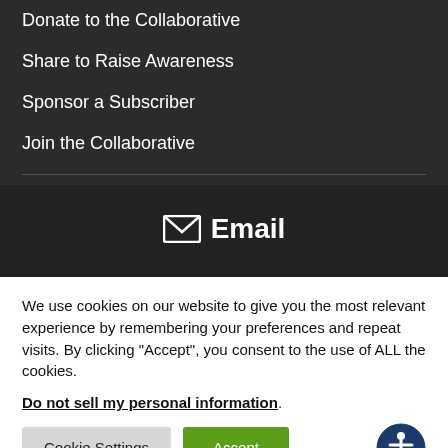Donate to the Collaborative
Share to Raise Awareness
Sponsor a Subscriber
Join the Collaborative
[Figure (other): Email icon with envelope symbol and bold 'Email' text in white on dark background]
We use cookies on our website to give you the most relevant experience by remembering your preferences and repeat visits. By clicking “Accept”, you consent to the use of ALL the cookies.
Do not sell my personal information.
Cookie Settings   Accept